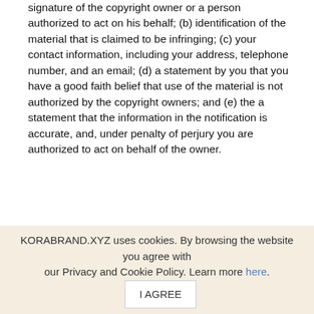signature of the copyright owner or a person authorized to act on his behalf; (b) identification of the material that is claimed to be infringing; (c) your contact information, including your address, telephone number, and an email; (d) a statement by you that you have a good faith belief that use of the material is not authorized by the copyright owners; and (e) the a statement that the information in the notification is accurate, and, under penalty of perjury you are authorized to act on behalf of the owner.
Indemnification
You agree to indemnify and hold KORABRAND.XYZ and its partners, subsidiaries, affiliates, officers, employees, agents, partners and licensors (if any) harmless from any claim or demand, including reasonable attorneys' fees, due to or
Checkout has been disabled. It's still possible to browse the products.
KORABRAND.XYZ uses cookies. By browsing the website you agree with our Privacy and Cookie Policy. Learn more here.